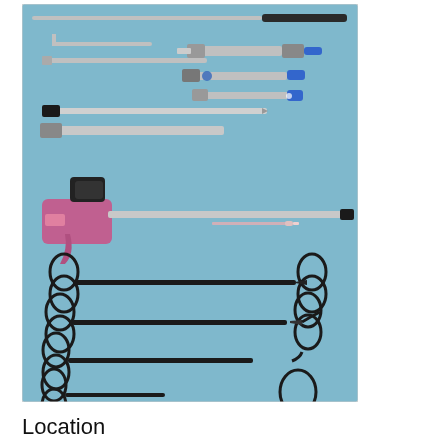[Figure (photo): A collection of laparoscopic surgical instruments laid out on a light blue surgical drape. Instruments include trocars, cannulas with valves, a pink/purple laparoscopic stapler gun, various laparoscopic graspers and scissors with ring handles, a Veress needle, and other endoscopic tools arranged in rows.]
Location